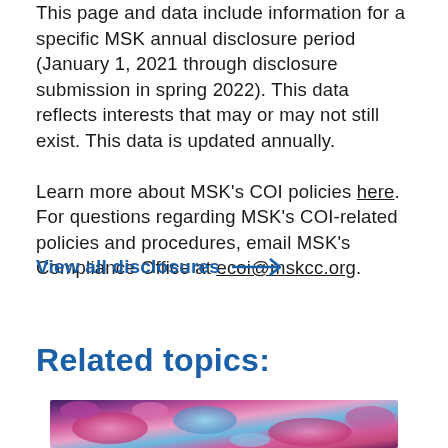This page and data include information for a specific MSK annual disclosure period (January 1, 2021 through disclosure submission in spring 2022). This data reflects interests that may or may not still exist. This data is updated annually.
Learn more about MSK's COI policies here. For questions regarding MSK's COI-related policies and procedures, email MSK's Compliance Office at ecoi@mskcc.org.
View all disclosures →
Related topics:
[Figure (photo): Colorful microscopy image of cancer cells or biological cells, showing pink, blue, and purple structures against a dark background.]